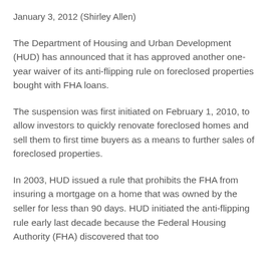January 3, 2012 (Shirley Allen)
The Department of Housing and Urban Development (HUD) has announced that it has approved another one-year waiver of its anti-flipping rule on foreclosed properties bought with FHA loans.
The suspension was first initiated on February 1, 2010, to allow investors to quickly renovate foreclosed homes and sell them to first time buyers as a means to further sales of foreclosed properties.
In 2003, HUD issued a rule that prohibits the FHA from insuring a mortgage on a home that was owned by the seller for less than 90 days. HUD initiated the anti-flipping rule early last decade because the Federal Housing Authority (FHA) discovered that too